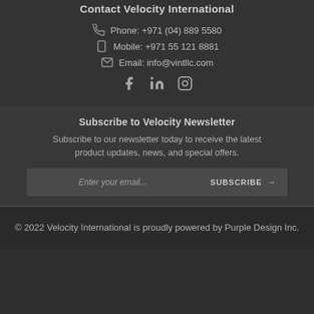Contact Velocity International
Phone: +971 (04) 889 5580
Mobile: +971 55 121 8881
Email: info@vintllc.com
[Figure (infographic): Social media icons: Facebook, LinkedIn, Instagram]
Subscribe to Velocity Newsletter
Subscribe to our newsletter today to receive the latest product updates, news, and special offers.
Enter your email... SUBSCRIBE →
© 2022 Velocity International is proudly powered by Purple Design Inc.